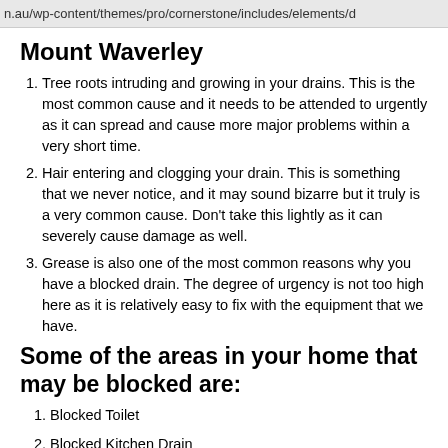n.au/wp-content/themes/pro/cornerstone/includes/elements/d
Mount Waverley
Tree roots intruding and growing in your drains. This is the most common cause and it needs to be attended to urgently as it can spread and cause more major problems within a very short time.
Hair entering and clogging your drain. This is something that we never notice, and it may sound bizarre but it truly is a very common cause. Don't take this lightly as it can severely cause damage as well.
Grease is also one of the most common reasons why you have a blocked drain. The degree of urgency is not too high here as it is relatively easy to fix with the equipment that we have.
Some of the areas in your home that may be blocked are:
Blocked Toilet
Blocked Kitchen Drain
Blocked Sewer Pipes